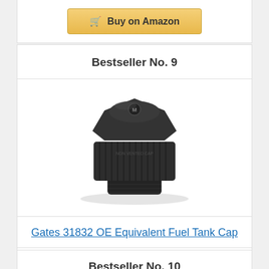[Figure (other): Buy on Amazon button at top of page]
Bestseller No. 9
[Figure (photo): Black plastic fuel tank cap - Gates 31832 OE Equivalent Fuel Tank Cap]
Gates 31832 OE Equivalent Fuel Tank Cap
[Figure (other): Buy on Amazon button]
Bestseller No. 10